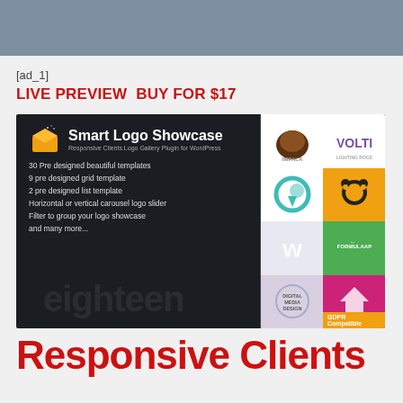[ad_1]
LIVE PREVIEWBUY FOR $17
[Figure (illustration): Smart Logo Showcase - Responsive Clients Logo Gallery Plugin for WordPress banner. Dark background with orange box logo icon, white text listing features: 30 Pre designed beautiful templates, 9 pre designed grid template, 2 pre designed list template, Horizontal or vertical carousel logo slider, Filter to group your logo showcase, and many more... Right side shows a 4x2 grid of sample logos. GDPR Compatible badge.]
Responsive Clients